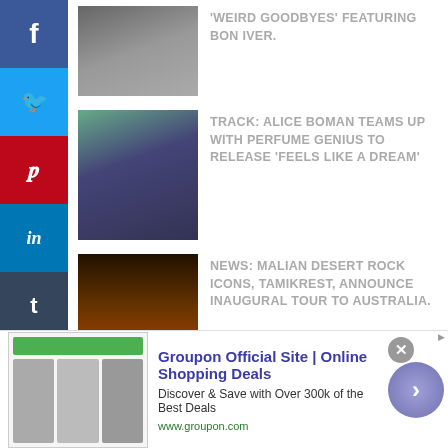[Figure (photo): Group photo thumbnail - people sitting outdoors]
'WEIRD GOODBYES' FEATURING BON IVER.
[Figure (photo): Two people sitting together - Alice Boman and Perfume Genius]
TRACK: ALICE BOMAN TEAMS UP WITH PERFUME GENIUS TO RELEASE 'FEELS LIKE A DREAM'
[Figure (photo): Stage/concert scene with dark red lighting - Tamikrest]
NEWS: MALIAN DESERT ROCK ICONS, TAMIKREST, ANNOUNCE INAUGURAL TOUR TO AUSTRALIA.
FEATURED 'AT HOME SESSION'
[Figure (screenshot): Groupon advertisement banner: Groupon Official Site | Online Shopping Deals. Discover & Save with Over 300k of the Best Deals. www.groupon.com]